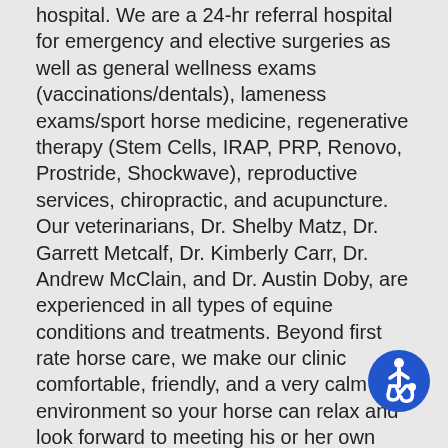hospital. We are a 24-hr referral hospital for emergency and elective surgeries as well as general wellness exams (vaccinations/dentals), lameness exams/sport horse medicine, regenerative therapy (Stem Cells, IRAP, PRP, Renovo, Prostride, Shockwave), reproductive services, chiropractic, and acupuncture. Our veterinarians, Dr. Shelby Matz, Dr. Garrett Metcalf, Dr. Kimberly Carr, Dr. Andrew McClain, and Dr. Austin Doby, are experienced in all types of equine conditions and treatments. Beyond first rate horse care, we make our clinic comfortable, friendly, and a very calm environment so your horse can relax and look forward to meeting his or her own veterinarian.
If you live in Glenpool or the surrounding areas of (Tulsa, Sapulpa, Broken Arrow, Mounds) OK, then you have picked the perfect site to find an equine veterinarian. We have many experienced, licensed veterinarians, treating all types of your equine needs. Your horse's health and well being is very important to us and we will take every step to give your friend the best possible care.
We have a number of resources for you to learn about how to take better care of your horses. Browse around and look at our articles and videos. The best veterinary
[Figure (illustration): Blue circular accessibility icon (wheelchair symbol) in the bottom right corner of the page.]